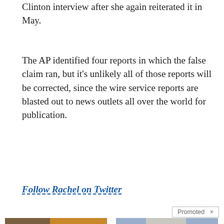Clinton interview after she again reiterated it in May.
The AP identified four reports in which the false claim ran, but it's unlikely all of those reports will be corrected, since the wire service reports are blasted out to news outlets all over the world for publication.
Follow Rachel on Twitter
Promoted ×
[Figure (photo): Advertisement image showing a person with abs and a spoon with spice powder]
A Teaspoon On An Empty Stomach Burns Fat Like Crazy!
🔥 147,433
[Figure (photo): Advertisement image showing two men in suits, one appears to be Merrick Garland and Joe Biden]
PETITION: 100,000 Signatures to Impeach AG Merrick Garland!